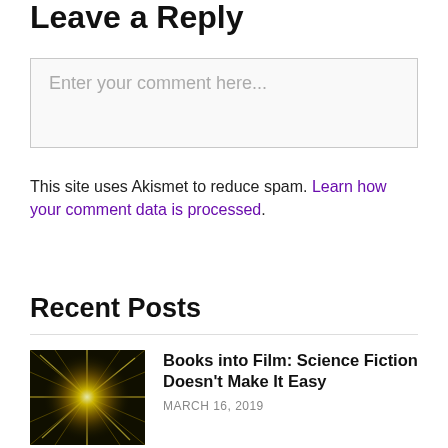Leave a Reply
Enter your comment here...
This site uses Akismet to reduce spam. Learn how your comment data is processed.
Recent Posts
Books into Film: Science Fiction Doesn't Make It Easy
MARCH 16, 2019